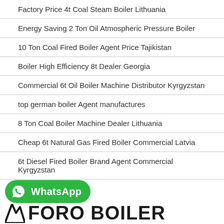Factory Price 4t Coal Steam Boiler Lithuania
Energy Saving 2 Ton Oil Atmospheric Pressure Boiler
10 Ton Coal Fired Boiler Agent Price Tajikistan
Boiler High Efficiency 8t Dealer Georgia
Commercial 6t Oil Boiler Machine Distributor Kyrgyzstan
top german boiler Agent manufactures
8 Ton Coal Boiler Machine Dealer Lithuania
Cheap 6t Natural Gas Fired Boiler Commercial Latvia
6t Diesel Fired Boiler Brand Agent Commercial Kyrgyzstan
…team coal industrial boiler Agent
[Figure (logo): FORO BOILER logo with stylized arrow/zigzag icon in black, large bold text]